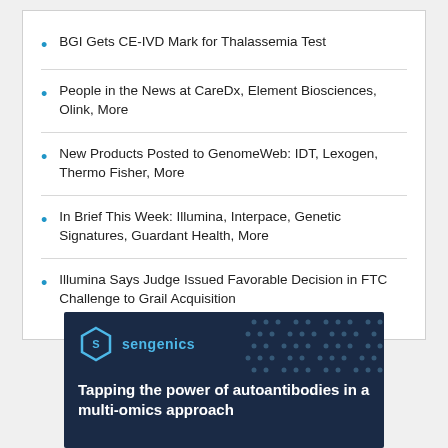BGI Gets CE-IVD Mark for Thalassemia Test
People in the News at CareDx, Element Biosciences, Olink, More
New Products Posted to GenomeWeb: IDT, Lexogen, Thermo Fisher, More
In Brief This Week: Illumina, Interpace, Genetic Signatures, Guardant Health, More
Illumina Says Judge Issued Favorable Decision in FTC Challenge to Grail Acquisition
[Figure (illustration): Sengenics advertisement banner with dark navy background, hexagonal logo in blue, dot pattern decoration, and text: 'Tapping the power of autoantibodies in a multi-omics approach']